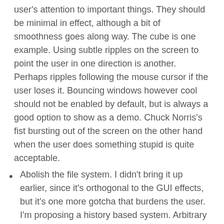user's attention to important things. They should be minimal in effect, although a bit of smoothness goes along way. The cube is one example. Using subtle ripples on the screen to point the user in one direction is another. Perhaps ripples following the mouse cursor if the user loses it. Bouncing windows however cool should not be enabled by default, but is always a good option to show as a demo. Chuck Norris's fist bursting out of the screen on the other hand when the user does something stupid is quite acceptable.
Abolish the file system. I didn't bring it up earlier, since it's orthogonal to the GUI effects, but it's one more gotcha that burdens the user. I'm proposing a history based system. Arbitrary tags are also good. Being able to set commonly used filters are even better.
Physical awareness. Recognizing that the user's laptop is on the home network might be a good time to sync up all the shared files. Realizing that